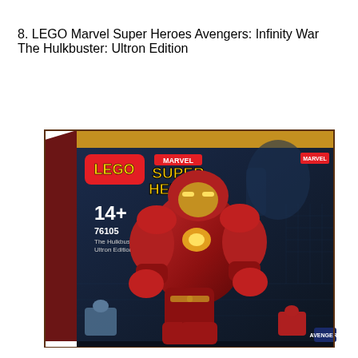8. LEGO Marvel Super Heroes Avengers: Infinity War The Hulkbuster: Ultron Edition
[Figure (photo): LEGO Marvel Super Heroes set box art showing the Hulkbuster Ultron Edition (set 76105). The box features a large red and gold Hulkbuster Iron Man armored suit LEGO model against a blue sci-fi background. The box shows '14+', '76105', and 'The Hulkbuster Ultron Edition' text. LEGO and Marvel Super Heroes logos are visible. The Avengers logo appears in the bottom right corner.]